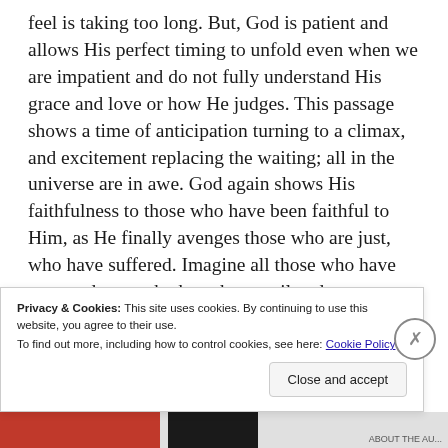feel is taking too long. But, God is patient and allows His perfect timing to unfold even when we are impatient and do not fully understand His grace and love or how He judges. This passage shows a time of anticipation turning to a climax, and excitement replacing the waiting; all in the universe are in awe. God again shows His faithfulness to those who have been faithful to Him, as He finally avenges those who are just, who have suffered. Imagine all those who have wronged you, who have been evil and
Privacy & Cookies: This site uses cookies. By continuing to use this website, you agree to their use.
To find out more, including how to control cookies, see here: Cookie Policy
Close and accept